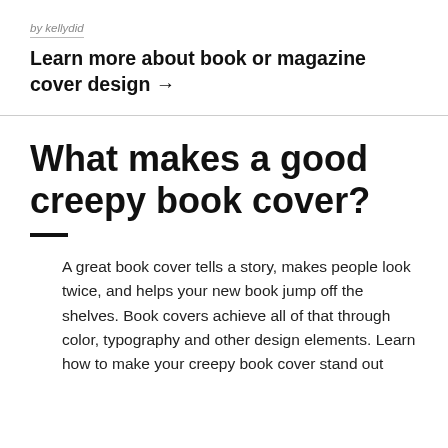by kellydid
Learn more about book or magazine cover design →
What makes a good creepy book cover?
A great book cover tells a story, makes people look twice, and helps your new book jump off the shelves. Book covers achieve all of that through color, typography and other design elements. Learn how to make your creepy book cover stand out